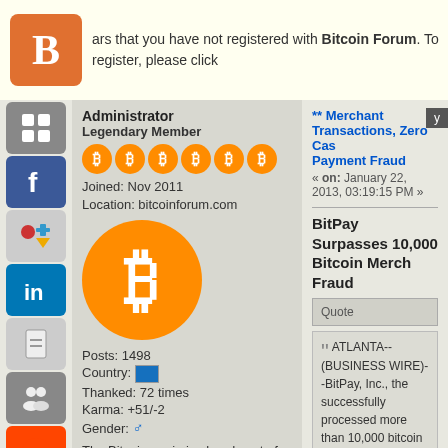ars that you have not registered with Bitcoin Forum. To register, please click
Administrator
Legendary Member
Joined: Nov 2011
Location: bitcoinforum.com
[Figure (logo): Bitcoin orange logo circle with B symbol]
Posts: 1498
Country: [flag]
Thanked: 72 times
Karma: +51/-2
Gender: male
The Bitcoin genie is already out of the bottle.
** Merchant Transactions, Zero Cas... Payment Fraud
« on: January 22, 2013, 03:19:15 PM »
BitPay Surpasses 10,000 Bitcoin Merch... Fraud
Quote
ATLANTA--(BUSINESS WIRE)--BitPay, Inc., the successfully processed more than 10,000 bitcoin transactions, BitPay has experienced exactly ze... has failed to confirm over the bitcoin peer-to-pee... payments. Companies can now ship their merch... welcome relief for internet merchants who are ba...
Quote
"We have some tremendous expertise in this ahead of all others in the marketplace."